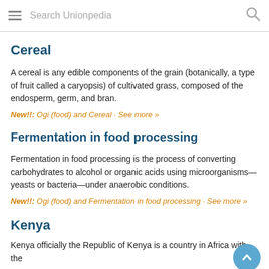Search Unionpedia
Cereal
A cereal is any edible components of the grain (botanically, a type of fruit called a caryopsis) of cultivated grass, composed of the endosperm, germ, and bran.
New!!: Ogi (food) and Cereal · See more »
Fermentation in food processing
Fermentation in food processing is the process of converting carbohydrates to alcohol or organic acids using microorganisms—yeasts or bacteria—under anaerobic conditions.
New!!: Ogi (food) and Fermentation in food processing · See more »
Kenya
Kenya officially the Republic of Kenya is a country in Africa with the